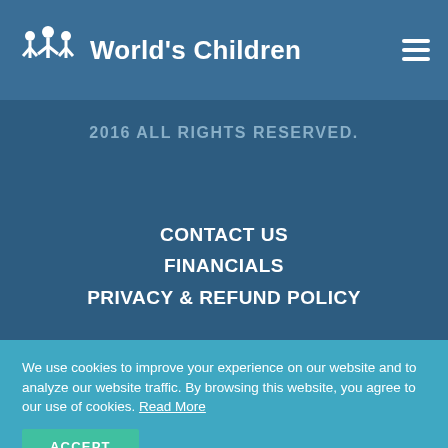World's Children
2016 ALL RIGHTS RESERVED.
CONTACT US
FINANCIALS
PRIVACY & REFUND POLICY
We use cookies to improve your experience on our website and to analyze our website traffic. By browsing this website, you agree to our use of cookies. Read More
ACCEPT